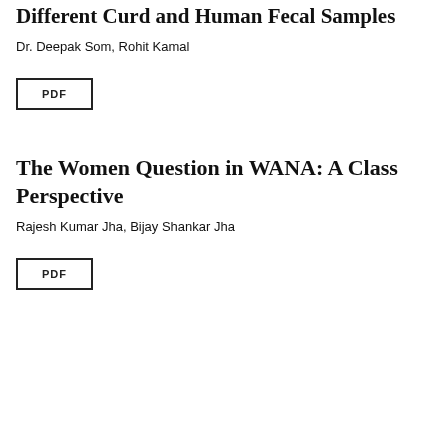Different Curd and Human Fecal Samples
Dr. Deepak Som, Rohit Kamal
[Figure (other): PDF download button]
The Women Question in WANA: A Class Perspective
Rajesh Kumar Jha, Bijay Shankar Jha
[Figure (other): PDF download button]